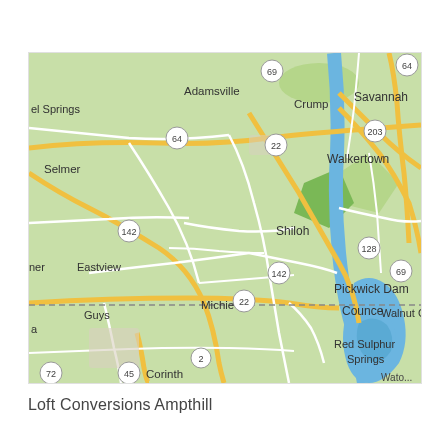[Figure (map): Google Maps style road map showing towns in southwestern Tennessee and northern Mississippi including Adamsville, Crump, Savannah, Walkertown, Selmer, Shiloh, Eastview, Michie, Pickwick Dam, Counce, Red Sulphur Springs, Short, Guys, Corinth. Shows highways 64, 69, 22, 142, 203, 128, 45, 2, 72. A blue river/lake body (Tennessee River/Pickwick Lake) is visible on the right side. A dashed state border line runs horizontally in the lower portion.]
Loft Conversions Ampthill